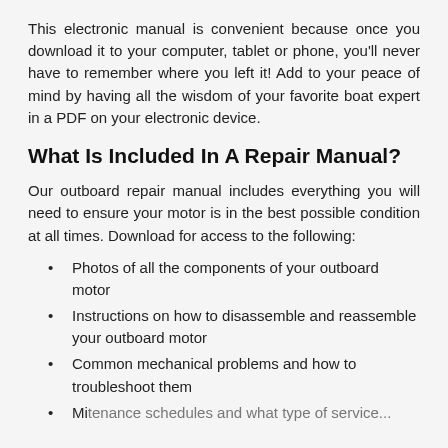This electronic manual is convenient because once you download it to your computer, tablet or phone, you'll never have to remember where you left it! Add to your peace of mind by having all the wisdom of your favorite boat expert in a PDF on your electronic device.
What Is Included In A Repair Manual?
Our outboard repair manual includes everything you will need to ensure your motor is in the best possible condition at all times. Download for access to the following:
Photos of all the components of your outboard motor
Instructions on how to disassemble and reassemble your outboard motor
Common mechanical problems and how to troubleshoot them
Maintenance schedules and what type of service...